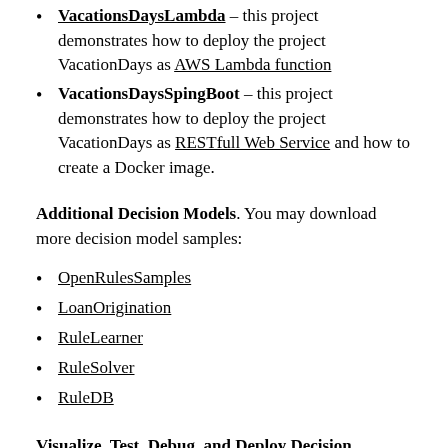VacationsDaysLambda – this project demonstrates how to deploy the project VacationDays as AWS Lambda function
VacationsDaysSpingBoot – this project demonstrates how to deploy the project VacationDays as RESTfull Web Service and how to create a Docker image.
Additional Decision Models. You may download more decision model samples:
OpenRulesSamples
LoanOrigination
RuleLearner
RuleSolver
RuleDB
Visualize, Test, Debug, and Deploy Decision Models. Each project (under Windows) includes the